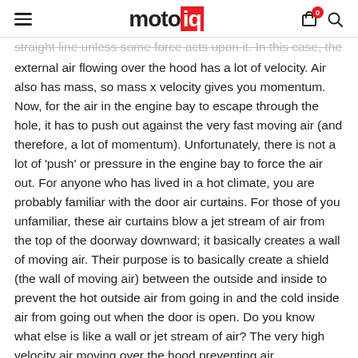motoiq
straight line unless some force acts upon it. In this case, the external air flowing over the hood has a lot of velocity. Air also has mass, so mass x velocity gives you momentum. Now, for the air in the engine bay to escape through the hole, it has to push out against the very fast moving air (and therefore, a lot of momentum). Unfortunately, there is not a lot of 'push' or pressure in the engine bay to force the air out. For anyone who has lived in a hot climate, you are probably familiar with the door air curtains. For those of you unfamiliar, these air curtains blow a jet stream of air from the top of the doorway downward; it basically creates a wall of moving air. Their purpose is to basically create a shield (the wall of moving air) between the outside and inside to prevent the hot outside air from going in and the cold inside air from going out when the door is open. Do you know what else is like a wall or jet stream of air? The very high velocity air moving over the hood preventing air